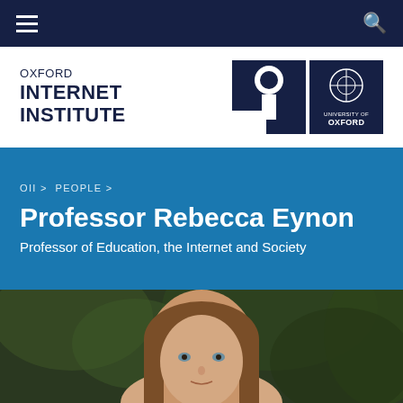Oxford Internet Institute – navigation bar with hamburger menu and search icon
[Figure (logo): Oxford Internet Institute logo with 'OXFORD INTERNET INSTITUTE' text and OII graphic mark alongside University of Oxford shield logo]
OII > PEOPLE >
Professor Rebecca Eynon
Professor of Education, the Internet and Society
[Figure (photo): Portrait photograph of Professor Rebecca Eynon, a woman with long brown hair, outdoors with blurred green foliage background]